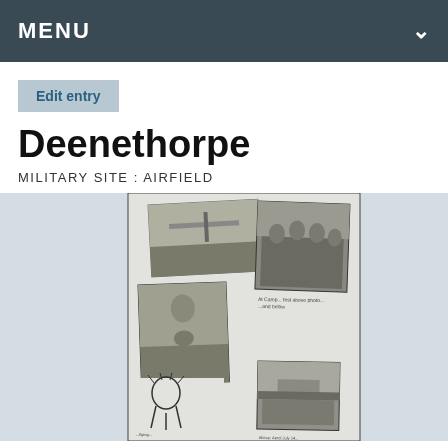MENU
Edit entry
Deenethorpe
MILITARY SITE : AIRFIELD
[Figure (photo): Black and white scrapbook page with multiple old photographs: an airfield scene, a group of military personnel, a man with a dog, a cartoon drawing, and a small building photo. Handwritten captions visible beneath some photos.]